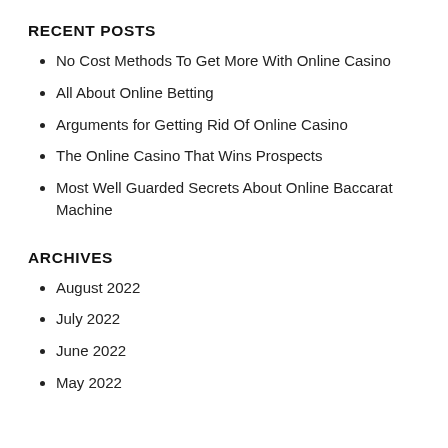RECENT POSTS
No Cost Methods To Get More With Online Casino
All About Online Betting
Arguments for Getting Rid Of Online Casino
The Online Casino That Wins Prospects
Most Well Guarded Secrets About Online Baccarat Machine
ARCHIVES
August 2022
July 2022
June 2022
May 2022